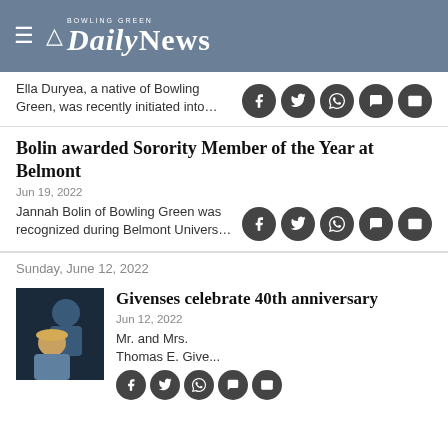Bowling Green Daily News
Ella Duryea, a native of Bowling Green, was recently initiated into…
Bolin awarded Sorority Member of the Year at Belmont
Jun 19, 2022
Jannah Bolin of Bowling Green was recognized during Belmont Univers…
Sunday, June 12, 2022
[Figure (photo): Couple portrait photo for anniversary article]
Givenses celebrate 40th anniversary
Jun 12, 2022
Mr. and Mrs. Thomas E. Gives...